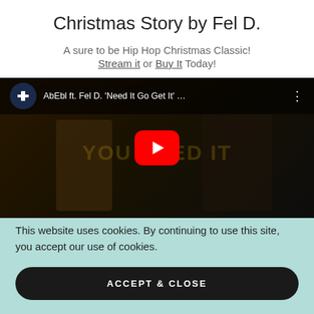Christmas Story by Fel D.
A sure to be Hip Hop Christmas Classic!
Stream it or Buy It Today!
[Figure (screenshot): YouTube video thumbnail showing 'AbEbl ft. Fel D. Need It Go Get It' with a play button overlay, dark background scene with figures.]
Cookie Policy
This website uses cookies. By continuing to use this site, you accept our use of cookies.
ACCEPT & CLOSE